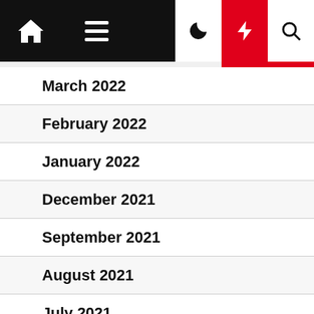Navigation bar with home, menu, dark mode, flash, and search icons
March 2022
February 2022
January 2022
December 2021
September 2021
August 2021
July 2021
June 2021
May 2021